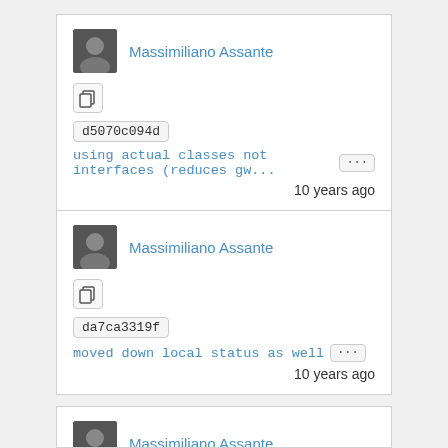Massimiliano Assante
d5070c094d
using actual classes not interfaces (reduces gw... ...
10 years ago
Massimiliano Assante
da7ca3319f
moved down local status as well ...
10 years ago
Massimiliano Assante
1a827c17f0